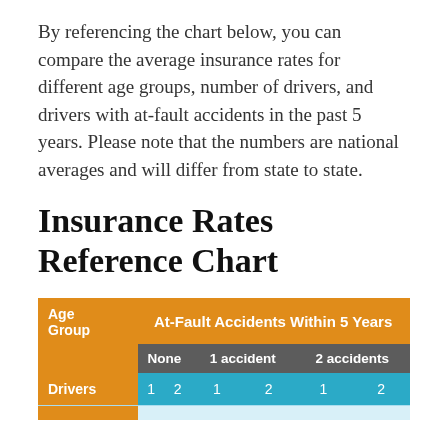By referencing the chart below, you can compare the average insurance rates for different age groups, number of drivers, and drivers with at-fault accidents in the past 5 years. Please note that the numbers are national averages and will differ from state to state.
Insurance Rates Reference Chart
| Age Group | None - 1 driver | None - 2 drivers | 1 accident - 1 driver | 1 accident - 2 drivers | 2 accidents - 1 driver | 2 accidents - 2 drivers |
| --- | --- | --- | --- | --- | --- | --- |
|  |  |  |  |  |  |  |